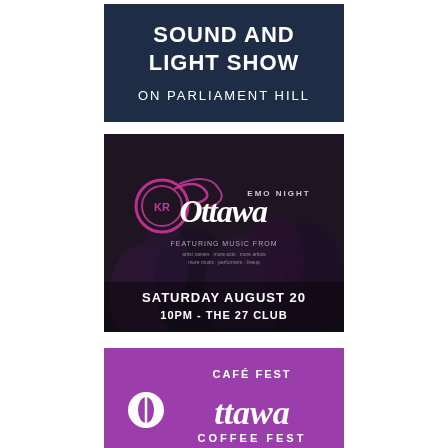[Figure (illustration): Dark navy blue banner with white bold text 'SOUND AND LIGHT SHOW' and below it 'ON PARLIAMENT HILL' in lighter weight white text]
[Figure (photo): Dark photo of a concert crowd with Ottawa Emo Night branding. Features the Ottawa logo in white script, 'EMO NIGHT' text, a pink/magenta swirl logo, text 'FEATURING MUSIC FROM' with artist names, and 'SATURDAY AUGUST 20 10PM - THE 27 CLUB' at the bottom]
[Figure (illustration): Purple/magenta square banner with white text. Shows 'CAFÉ FEST' in small caps, 'Ottawa' in large white script font with a coffee bean circle icon replacing the O, and 'COFFEE FEST' below in white bold text]